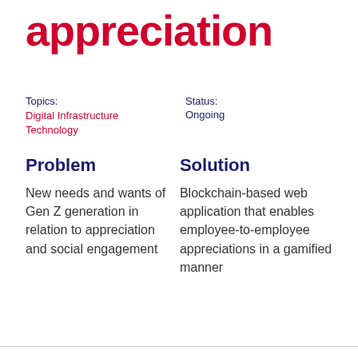appreciation
Topics:
Digital Infrastructure
Technology
Status:
Ongoing
Problem
Solution
New needs and wants of Gen Z generation in relation to appreciation and social engagement
Blockchain-based web application that enables employee-to-employee appreciations in a gamified manner